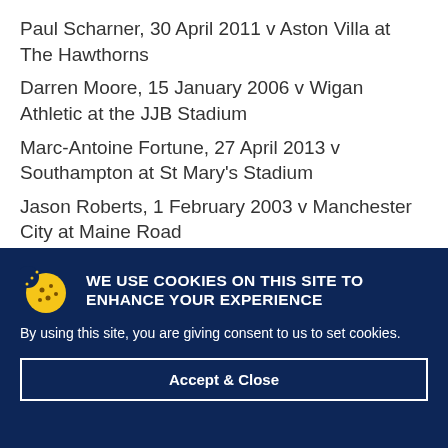Paul Scharner, 30 April 2011 v Aston Villa at The Hawthorns
Darren Moore, 15 January 2006 v Wigan Athletic at the JJB Stadium
Marc-Antoine Fortune, 27 April 2013 v Southampton at St Mary's Stadium
Jason Roberts, 1 February 2003 v Manchester City at Maine Road
WE USE COOKIES ON THIS SITE TO ENHANCE YOUR EXPERIENCE
By using this site, you are giving consent to us to set cookies.
Accept & Close